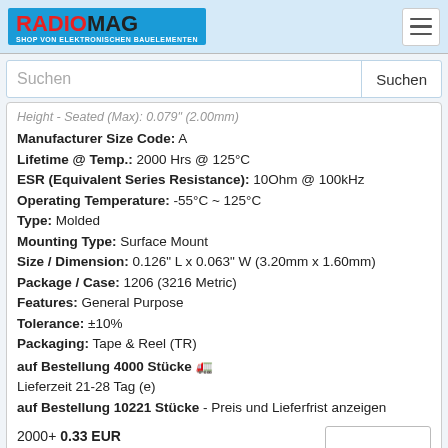RADIOMAG - SHOP VON ELEKTRONISCHEN BAUELEMENTEN
Suchen
Height - Seated (Max): 0.079" (2.00mm)
Manufacturer Size Code: A
Lifetime @ Temp.: 2000 Hrs @ 125°C
ESR (Equivalent Series Resistance): 10Ohm @ 100kHz
Operating Temperature: -55°C ~ 125°C
Type: Molded
Mounting Type: Surface Mount
Size / Dimension: 0.126" L x 0.063" W (3.20mm x 1.60mm)
Package / Case: 1206 (3216 Metric)
Features: General Purpose
Tolerance: ±10%
Packaging: Tape & Reel (TR)
auf Bestellung 4000 Stücke 🚛
Lieferzeit 21-28 Tag (e)
auf Bestellung 10221 Stücke - Preis und Lieferfrist anzeigen
2000+ 0.33 EUR
4000+ 0.31 EUR
F931V474KAA